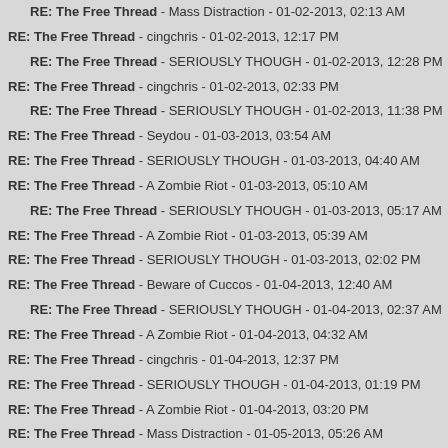RE: The Free Thread - Mass Distraction - 01-02-2013, 02:13 AM
RE: The Free Thread - cingchris - 01-02-2013, 12:17 PM
RE: The Free Thread - SERIOUSLY THOUGH - 01-02-2013, 12:28 PM
RE: The Free Thread - cingchris - 01-02-2013, 02:33 PM
RE: The Free Thread - SERIOUSLY THOUGH - 01-02-2013, 11:38 PM
RE: The Free Thread - Seydou - 01-03-2013, 03:54 AM
RE: The Free Thread - SERIOUSLY THOUGH - 01-03-2013, 04:40 AM
RE: The Free Thread - A Zombie Riot - 01-03-2013, 05:10 AM
RE: The Free Thread - SERIOUSLY THOUGH - 01-03-2013, 05:17 AM
RE: The Free Thread - A Zombie Riot - 01-03-2013, 05:39 AM
RE: The Free Thread - SERIOUSLY THOUGH - 01-03-2013, 02:02 PM
RE: The Free Thread - Beware of Cuccos - 01-04-2013, 12:40 AM
RE: The Free Thread - SERIOUSLY THOUGH - 01-04-2013, 02:37 AM
RE: The Free Thread - A Zombie Riot - 01-04-2013, 04:32 AM
RE: The Free Thread - cingchris - 01-04-2013, 12:37 PM
RE: The Free Thread - SERIOUSLY THOUGH - 01-04-2013, 01:19 PM
RE: The Free Thread - A Zombie Riot - 01-04-2013, 03:20 PM
RE: The Free Thread - Mass Distraction - 01-05-2013, 05:26 AM
RE: The Free Thread - A Zombie Riot - 01-05-2013, 08:10 AM
RE: The Free Thread - SERIOUSLY THOUGH - 01-06-2013, 02:15 AM
RE: The Free Thread - cingchris - 01-06-2013, 05:59 AM
RE: The Free Thread - SERIOUSLY THOUGH - 01-06-2013, 08:32 AM
RE: The Free Thread - Ouberry_13 - 01-08-2013, 08:56 AM
RE: The Free Thread - SERIOUSLY THOUGH - 01-08-2013, 09:53 AM
RE: The Free Thread - A Zombie Riot - 01-08-2013, 10:02 AM